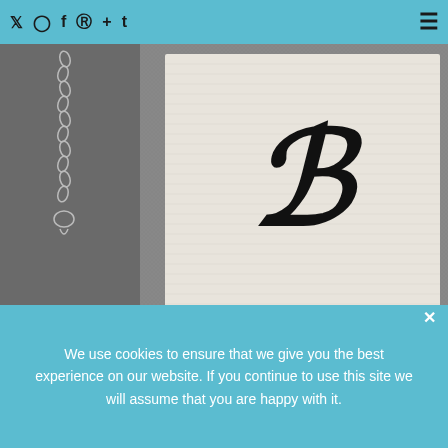Twitter Instagram Facebook Pinterest + Tumblr [hamburger menu]
[Figure (photo): A pocket watch display box with a decorative gothic letter B embossed on the lid, placed on a grey carpet. A silver chain is visible on the left side.]
This pocket watch is a great way to show your dad
We use cookies to ensure that we give you the best experience on our website. If you continue to use this site we will assume that you are happy with it.